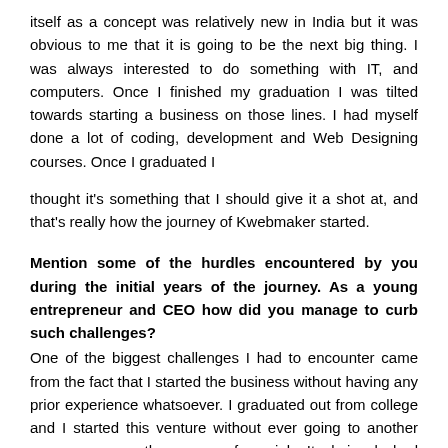itself as a concept was relatively new in India but it was obvious to me that it is going to be the next big thing. I was always interested to do something with IT, and computers. Once I finished my graduation I was tilted towards starting a business on those lines. I had myself done a lot of coding, development and Web Designing courses. Once I graduated I
thought it's something that I should give it a shot at, and that's really how the journey of Kwebmaker started.
Mention some of the hurdles encountered by you during the initial years of the journey. As a young entrepreneur and CEO how did you manage to curb such challenges?
One of the biggest challenges I had to encounter came from the fact that I started the business without having any prior experience whatsoever. I graduated out from college and I started this venture without ever going to another company or another agency for a job. It obviously had both pros and cons. The con really was that I learned the entire business and everything at my own expanse. One of the biggest challenges was that being a complete novice to business I decided to start a company. That was a large learning curve and the biggest challenge encountered.